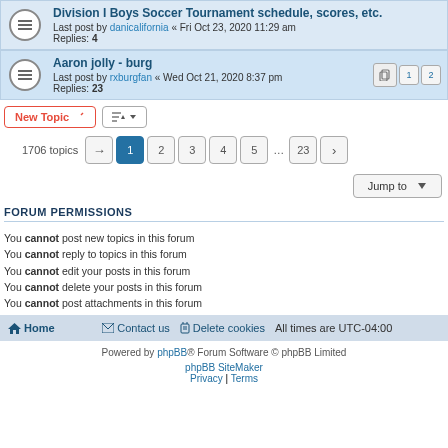Division I Boys Soccer Tournament schedule, scores, etc. Last post by danicalifornia « Fri Oct 23, 2020 11:29 am Replies: 4
Aaron jolly - burg Last post by rxburgfan « Wed Oct 21, 2020 8:37 pm Replies: 23
1706 topics  1 2 3 4 5 ... 23
Jump to
FORUM PERMISSIONS
You cannot post new topics in this forum
You cannot reply to topics in this forum
You cannot edit your posts in this forum
You cannot delete your posts in this forum
You cannot post attachments in this forum
Home   Contact us   Delete cookies   All times are UTC-04:00
Powered by phpBB® Forum Software © phpBB Limited
phpBB SiteMaker
Privacy | Terms